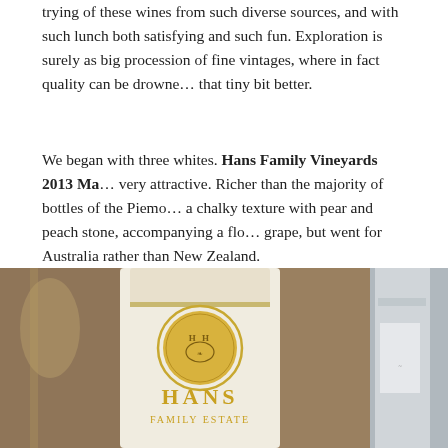trying of these wines from such diverse sources, and with such lunch both satisfying and such fun. Exploration is surely as big procession of fine vintages, where in fact quality can be drowned that tiny bit better.
We began with three whites. Hans Family Vineyards 2013 Ma... very attractive. Richer than the majority of bottles of the Piemon... a chalky texture with pear and peach stone, accompanying a flo... grape, but went for Australia rather than New Zealand.
[Figure (photo): Photo of Hans Family Estate wine bottle with gold emblem and lettering on white label, and a partial second bottle to the right]